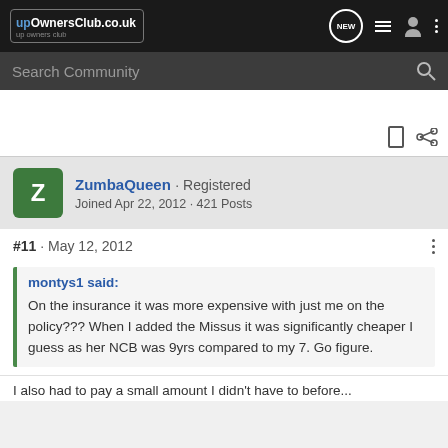upOwnersClub.co.uk — NEW — navigation icons
Search Community
ZumbaQueen · Registered
Joined Apr 22, 2012 · 421 Posts
#11 · May 12, 2012
montys1 said:
On the insurance it was more expensive with just me on the policy??? When I added the Missus it was significantly cheaper I guess as her NCB was 9yrs compared to my 7. Go figure.
...